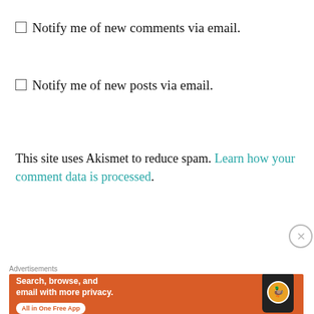Notify me of new comments via email.
Notify me of new posts via email.
This site uses Akismet to reduce spam. Learn how your comment data is processed.
PREVIOUS
Clair Chilvers
[Figure (screenshot): DuckDuckGo advertisement banner: orange background, text 'Search, browse, and email with more privacy. All in One Free App' with DuckDuckGo logo on a phone mockup]